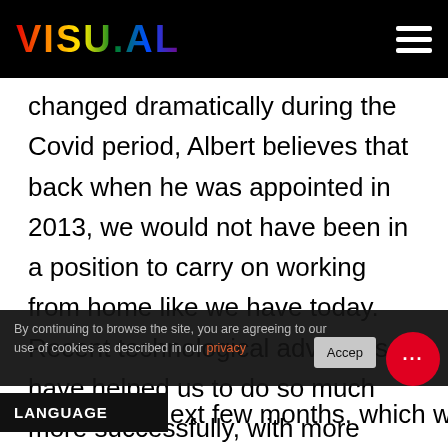VISU.AL
changed dramatically during the Covid period, Albert believes that back when he was appointed in 2013, we would not have been in a position to carry on working from home like we have today. Recent technological advances have helped us to do so much more successfully, with more businesses in the Financial Services sector relying heavily on technology. With this comes the real possibility of a new wave of banks, which he confirms will include the coming of a n...ext few months, which will be
By continuing to browse the site, you are agreeing to our use of cookies as described in our privacy
LANGUAGE